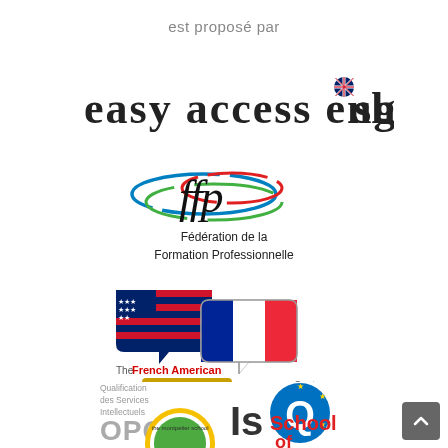est proposé par
[Figure (logo): Easy Access English logo with hand-lettered style text and UK flag emoji]
[Figure (logo): FFP - Fédération de la Formation Professionnelle logo with stylized 'ffp' lettering and colored oval]
Fédération de la
Formation Professionnelle
[Figure (logo): The French American Center logo with speech bubbles showing US and French flags, text 'Depuis 1991']
[Figure (logo): OPQF ISQ logo - Qualification des Services Intellectuels with blue Q circle and gold stars]
[Figure (logo): The Montpellier School logo - partial, School of text visible]